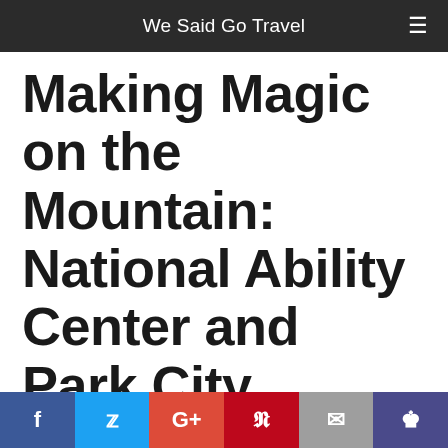We Said Go Travel
Making Magic on the Mountain: National Ability Center and Park City Mountain
I grew up skiing on Park City Mountain watching skiers wearing bibs that read: “Blind Skier.” I always wondered, “How do they do that?” Finally this year, I had the honor of spending the day with the incredible